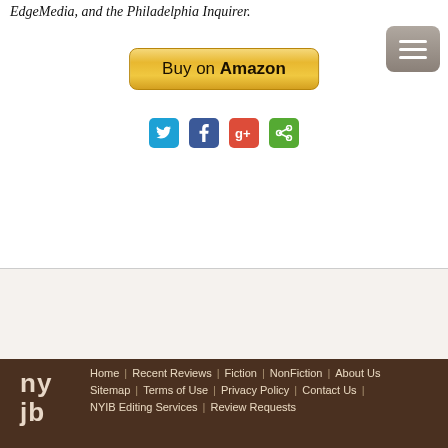EdgeMedia, and the Philadelphia Inquirer.
[Figure (other): Buy on Amazon button - gold/yellow gradient rounded rectangle button with text 'Buy on Amazon']
[Figure (other): Social sharing icons: Twitter (blue), Facebook (dark blue), Google+ (red), Share (green)]
[Figure (other): Hamburger menu button - gray rounded rectangle with three white horizontal lines]
Home | Recent Reviews | Fiction | NonFiction | About Us | Sitemap | Terms of Use | Privacy Policy | Contact Us | NYIB Editing Services | Review Requests